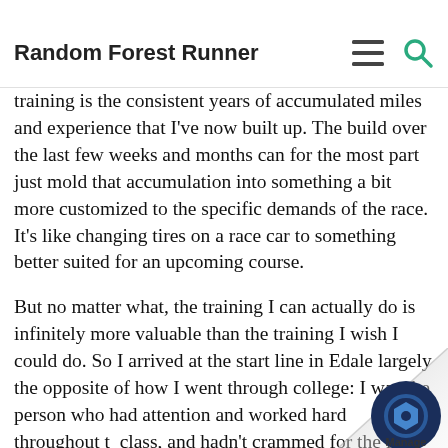Random Forest Runner
wish it would be. Fortunately for a race like The spine, though, the most important training is the consistent years of accumulated miles and experience that I've now built up. The build over the last few weeks and months can for the most part just mold that accumulation into something a bit more customized to the specific demands of the race. It's like changing tires on a race car to something better suited for an upcoming course.
But no matter what, the training I can actually do is infinitely more valuable than the training I wish I could do. So I arrived at the start line in Edale largely the opposite of how I went through college: I was the person who had attention and worked hard throughout the class, and hadn't crammed for the final